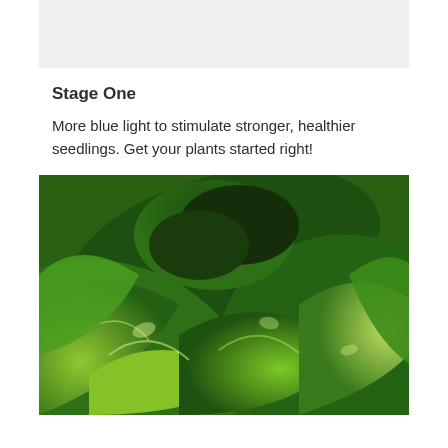[Figure (photo): Top portion of a photo showing a light gray/white background, partially visible — appears to be the bottom of an image from the previous page.]
Stage One
More blue light to stimulate stronger, healthier seedlings. Get your plants started right!
[Figure (photo): Close-up photograph of lush green lettuce or leafy greens, showing multiple overlapping leaves with light reflecting off their surfaces.]